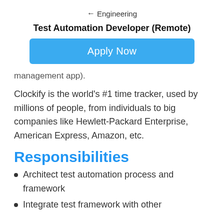← Engineering
Test Automation Developer (Remote)
[Figure (other): Blue 'Apply Now' button]
management app).
Clockify is the world's #1 time tracker, used by millions of people, from individuals to big companies like Hewlett-Packard Enterprise, American Express, Amazon, etc.
Responsibilities
Architect test automation process and framework
Integrate test framework with other